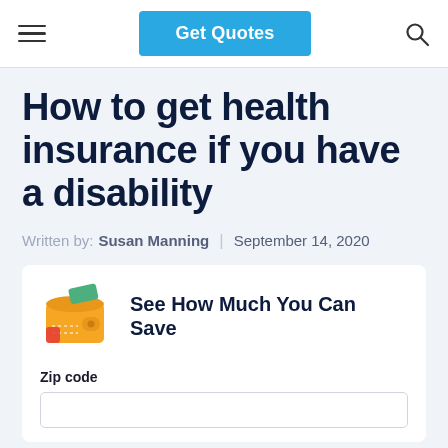Get Quotes
How to get health insurance if you have a disability
Written by: Susan Manning | September 14, 2020
[Figure (illustration): Orange wallet icon with green card peeking out]
See How Much You Can Save
Zip code